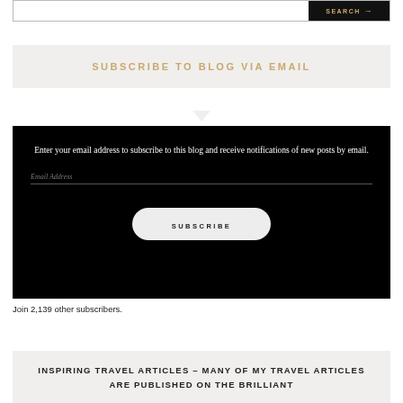[Figure (screenshot): Search bar with black button labeled SEARCH and arrow]
SUBSCRIBE TO BLOG VIA EMAIL
Enter your email address to subscribe to this blog and receive notifications of new posts by email.
Email Address
SUBSCRIBE
Join 2,139 other subscribers.
INSPIRING TRAVEL ARTICLES – MANY OF MY TRAVEL ARTICLES ARE PUBLISHED ON THE BRILLIANT